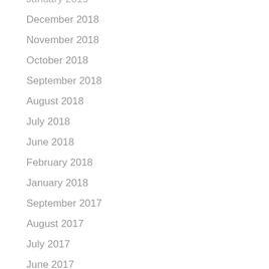January 2019
December 2018
November 2018
October 2018
September 2018
August 2018
July 2018
June 2018
February 2018
January 2018
September 2017
August 2017
July 2017
June 2017
May 2017